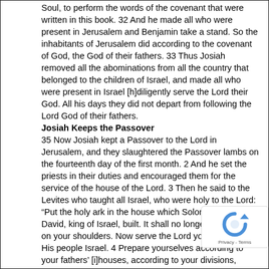Soul, to perform the words of the covenant that were written in this book. 32 And he made all who were present in Jerusalem and Benjamin take a stand. So the inhabitants of Jerusalem did according to the covenant of God, the God of their fathers. 33 Thus Josiah removed all the abominations from all the country that belonged to the children of Israel, and made all who were present in Israel [h]diligently serve the Lord their God. All his days they did not depart from following the Lord God of their fathers.
Josiah Keeps the Passover
35 Now Josiah kept a Passover to the Lord in Jerusalem, and they slaughtered the Passover lambs on the fourteenth day of the first month. 2 And he set the priests in their duties and encouraged them for the service of the house of the Lord. 3 Then he said to the Levites who taught all Israel, who were holy to the Lord: “Put the holy ark in the house which Solomon the son of David, king of Israel, built. It shall no longer be a burden on your shoulders. Now serve the Lord your God and His people Israel. 4 Prepare yourselves according to your fathers’ [i]houses, according to your divisions, following the written instruction of David king of Israel and the written